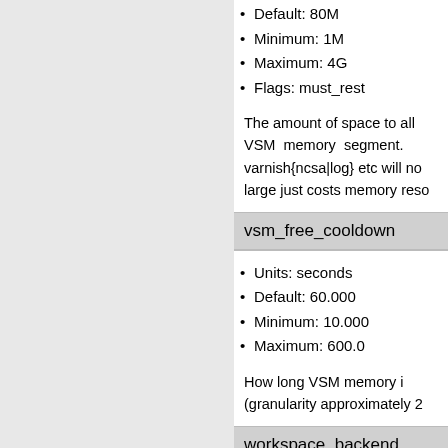Default: 80M
Minimum: 1M
Maximum: 4G
Flags: must_rest
The amount of space to all VSM memory segment. varnish{ncsa|log} etc will no large just costs memory reso
vsm_free_cooldown
Units: seconds
Default: 60.000
Minimum: 10.000
Maximum: 600.0
How long VSM memory i (granularity approximately 2
workspace_backend
Units: bytes